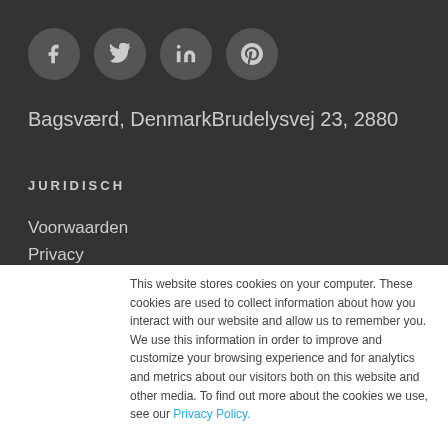[Figure (infographic): Four social media icons (Facebook, Twitter, LinkedIn, Pinterest) as grey circles on dark background]
Bagsværd, DenmarkBrudelysvej 23, 2880
JURIDISCH
Voorwaarden
Privacy
This website stores cookies on your computer. These cookies are used to collect information about how you interact with our website and allow us to remember you. We use this information in order to improve and customize your browsing experience and for analytics and metrics about our visitors both on this website and other media. To find out more about the cookies we use, see our Privacy Policy.
Accept